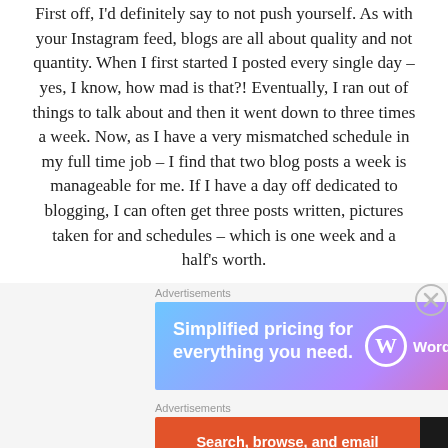First off, I'd definitely say to not push yourself. As with your Instagram feed, blogs are all about quality and not quantity. When I first started I posted every single day – yes, I know, how mad is that?! Eventually, I ran out of things to talk about and then it went down to three times a week. Now, as I have a very mismatched schedule in my full time job – I find that two blog posts a week is manageable for me. If I have a day off dedicated to blogging, I can often get three posts written, pictures taken for and schedules – which is one week and a half's worth.
Advertisements
[Figure (other): WordPress.com advertisement banner: 'Simplified pricing for everything you need.' with WordPress logo and text on a blue-purple-pink gradient background.]
Advertisements
[Figure (other): DuckDuckGo advertisement banner: 'Search, browse, and email with more privacy. All in One Free App' on orange-red background, with DuckDuckGo logo on dark background.]